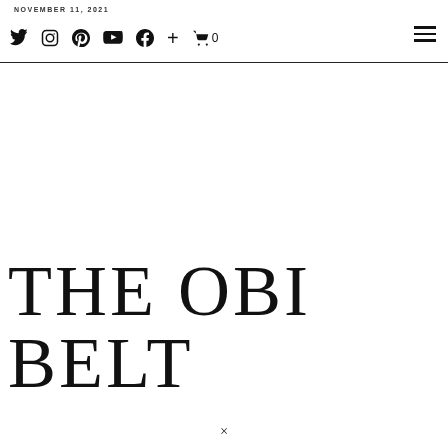NOVEMBER 11, 2021
THE OBI BELT
×